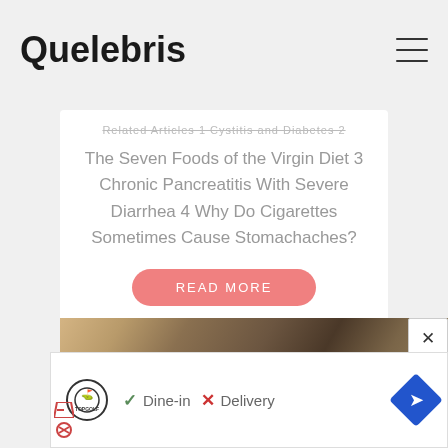Quelebris
Related Articles 1 Cystitis and Diabetes 2 The Seven Foods of the Virgin Diet 3 Chronic Pancreatitis With Severe Diarrhea 4 Why Do Cigarettes Sometimes Cause Stomachaches?
READ MORE
[Figure (photo): Photo of a person with brown/blonde hair, partial view]
[Figure (infographic): Advertisement banner: Topgolf logo with Dine-in checkmark and Delivery X mark, navigation icon]